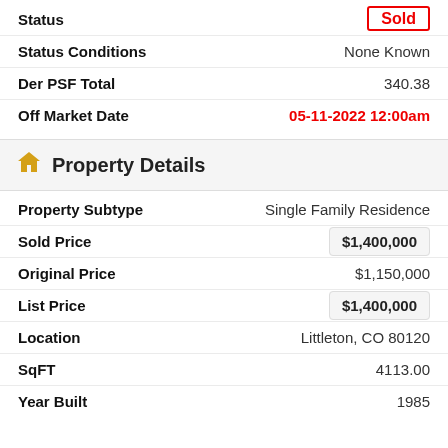Status | Sold
Status Conditions | None Known
Der PSF Total | 340.38
Off Market Date | 05-11-2022 12:00am
Property Details
Property Subtype | Single Family Residence
Sold Price | $1,400,000
Original Price | $1,150,000
List Price | $1,400,000
Location | Littleton, CO 80120
SqFT | 4113.00
Year Built | 1985